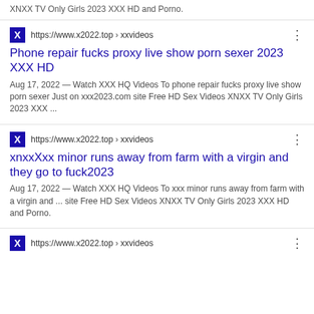XNXX TV Only Girls 2023 XXX HD and Porno.
https://www.x2022.top › xxvideos
Phone repair fucks proxy live show porn sexer 2023 XXX HD
Aug 17, 2022 — Watch XXX HQ Videos To phone repair fucks proxy live show porn sexer Just on xxx2023.com site Free HD Sex Videos XNXX TV Only Girls 2023 XXX ...
https://www.x2022.top › xxvideos
xnxxXxx minor runs away from farm with a virgin and they go to fuck2023
Aug 17, 2022 — Watch XXX HQ Videos To xxx minor runs away from farm with a virgin and ... site Free HD Sex Videos XNXX TV Only Girls 2023 XXX HD and Porno.
https://www.x2022.top › xxvideos